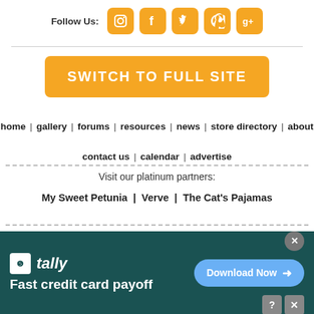Follow Us:
SWITCH TO FULL SITE
home | gallery | forums | resources | news | store directory | about
contact us | calendar | advertise
Visit our platinum partners:
My Sweet Petunia | Verve | The Cat's Pajamas
[Figure (infographic): tally app advertisement banner: Fast credit card payoff, Download Now button]